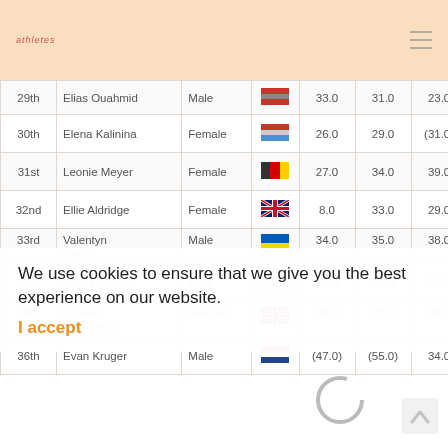Athletics results website header with logo and hamburger menu
| Place | Name | Gender | Flag | Score1 | Score2 | Score3 | Score4 | Score5 | Score6 |
| --- | --- | --- | --- | --- | --- | --- | --- | --- | --- |
| 29th | Elias Ouahmid | Male |  | 33.0 | 31.0 | 23.0 | 29.0 RDG | 29.0 RDG | (6... DM |
| 30th | Elena Kalinina | Female |  | 26.0 | 29.0 | (31.0) | 23.0 | 27.0 | 30... |
| 31st | Leonie Meyer | Female |  | 27.0 | 34.0 | 39.0 | 27.0 | 29.0 | 25... |
| 32nd | Ellie Aldridge | Female |  | 8.0 | 33.0 | 29.0 | 39.0 | 23.0 | 23... |
| 33rd | Valentyn Sudak | Male |  | 34.0 | 35.0 | 38.0 | (40.0) | 28.0 | 32... |
| 34th | Stan Reusch | Male |  | 35.0 | 36.0 | 31.0 | 25.0 | 33.0 | 34... |
| 35th | Jemima Crathorne | Female |  | 30.0 | 37.0 | (46.0) | 20.0 | 26.0 | 31... |
| 36th | Evan Kruger | Male |  | (47.0) | (55.0) | 34.0 | 31.0 | 24.0 | 29... |
We use cookies to ensure that we give you the best experience on our website.
I accept